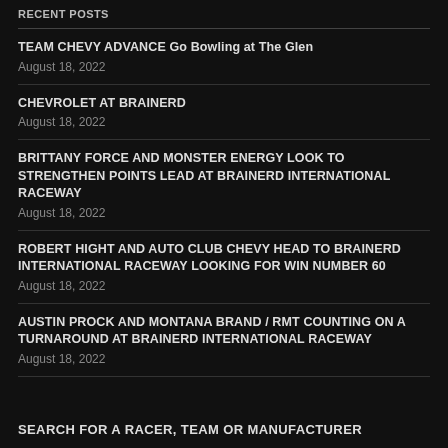RECENT POSTS
TEAM CHEVY ADVANCE Go Bowling at The Glen
August 18, 2022
CHEVROLET AT BRAINERD
August 18, 2022
BRITTANY FORCE AND MONSTER ENERGY LOOK TO STRENGTHEN POINTS LEAD AT BRAINERD INTERNATIONAL RACEWAY
August 18, 2022
ROBERT HIGHT AND AUTO CLUB CHEVY HEAD TO BRAINERD INTERNATIONAL RACEWAY LOOKING FOR WIN NUMBER 60
August 18, 2022
AUSTIN PROCK AND MONTANA BRAND / RMT COUNTING ON A TURNAROUND AT BRAINERD INTERNATIONAL RACEWAY
August 18, 2022
SEARCH FOR A RACER, TEAM OR MANUFACTURER